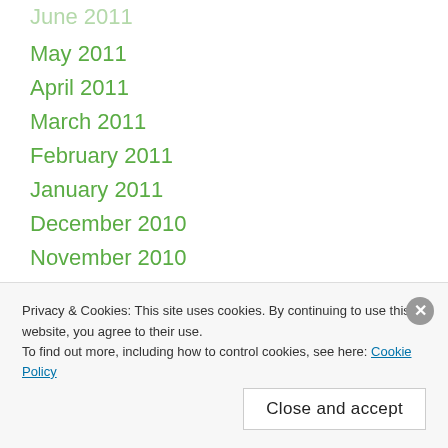May 2011
April 2011
March 2011
February 2011
January 2011
December 2010
November 2010
October 2010
September 2010
August 2010
July 2010
June 2010
Privacy & Cookies: This site uses cookies. By continuing to use this website, you agree to their use. To find out more, including how to control cookies, see here: Cookie Policy
Close and accept